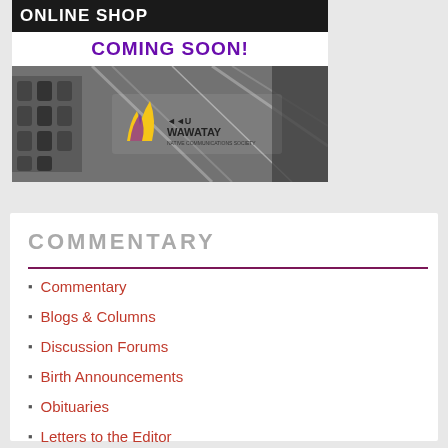[Figure (illustration): Online Shop Coming Soon banner with Wawatay Native Communications Society logo over a black and white industrial background image]
COMMENTARY
Commentary
Blogs & Columns
Discussion Forums
Birth Announcements
Obituaries
Letters to the Editor